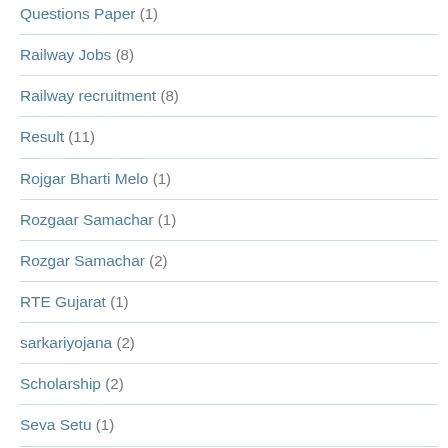Questions Paper (1)
Railway Jobs (8)
Railway recruitment (8)
Result (11)
Rojgar Bharti Melo (1)
Rozgaar Samachar (1)
Rozgar Samachar (2)
RTE Gujarat (1)
sarkariyojana (2)
Scholarship (2)
Seva Setu (1)
Shoping (1)
Student Kavita (1)
Student News (1)
Study Materials (1)